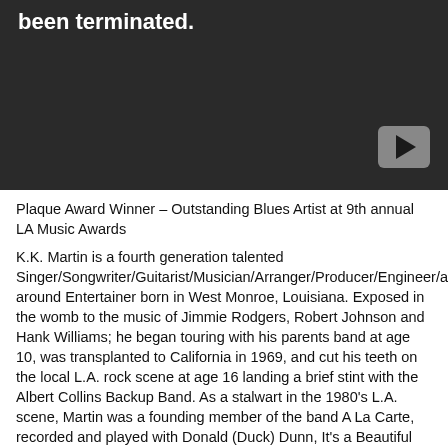been terminated.
[Figure (screenshot): Video player area with dark background showing a terminated video and a play button in the lower right corner.]
Plaque Award Winner – Outstanding Blues Artist at 9th annual LA Music Awards
K.K. Martin is a fourth generation talented Singer/Songwriter/Guitarist/Musician/Arranger/Producer/Engineer/all-around Entertainer born in West Monroe, Louisiana. Exposed in the womb to the music of Jimmie Rodgers, Robert Johnson and Hank Williams; he began touring with his parents band at age 10, was transplanted to California in 1969, and cut his teeth on the local L.A. rock scene at age 16 landing a brief stint with the Albert Collins Backup Band. As a stalwart in the 1980's L.A. scene, Martin was a founding member of the band A La Carte, recorded and played with Donald (Duck) Dunn, It's a Beautiful Day, Eric Burden, Booker T, Rick Derringer, Lester Chambers, Andy Johns, The Chambers Brothers, and Shark Island. He